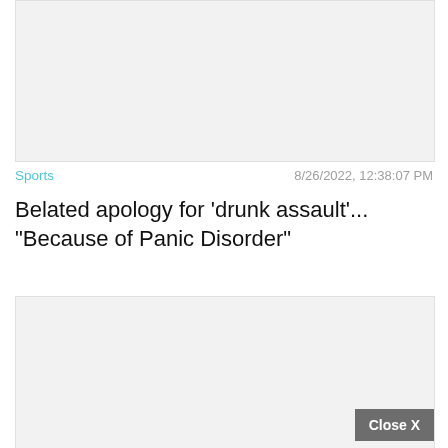[Figure (other): Top image placeholder block with light gray background]
Sports   8/26/2022, 12:38:07 PM
Belated apology for 'drunk assault'... "Because of Panic Disorder"
[Figure (other): Bottom image/ad block with light gray background and Close X button]